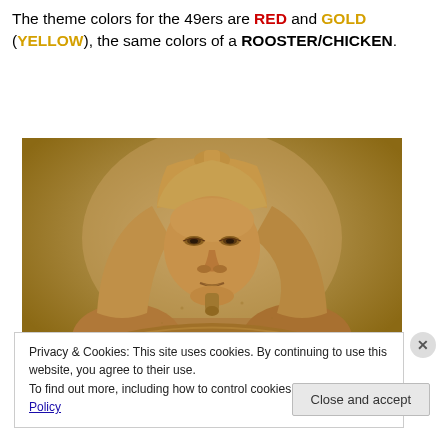The theme colors for the 49ers are RED and GOLD (YELLOW), the same colors of a ROOSTER/CHICKEN.
[Figure (photo): Photograph of an ancient Egyptian pharaoh statue (sphinx-like bust) in sandstone/limestone, showing detailed headdress and facial features, against a warm beige background.]
Privacy & Cookies: This site uses cookies. By continuing to use this website, you agree to their use.
To find out more, including how to control cookies, see here: Cookie Policy